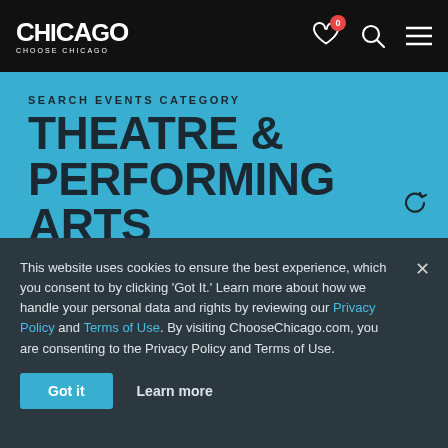CHICAGO — CHOOSE CHICAGO
SEARCH EVENTS CATEGORY
THEATRE & PERFORMING ARTS
Event category ▾   Neighbourhoods ▾
Theatre & Performing Arts
Search events
05/28/2022
This website uses cookies to ensure the best experience, which you consent to by clicking 'Got It.' Learn more about how we handle your personal data and rights by reviewing our Privacy Policy and Terms of Use. By visiting ChooseChicago.com, you are consenting to the Privacy Policy and Terms of Use.
Got it   Learn more